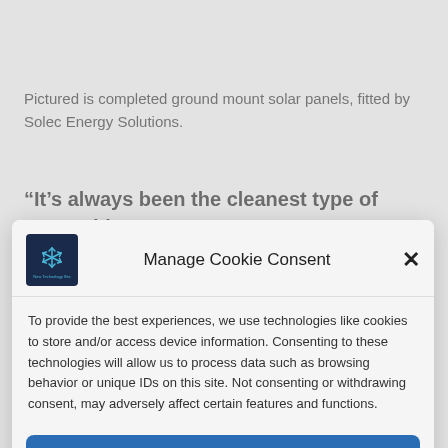Pictured is completed ground mount solar panels, fitted by Solec Energy Solutions.
“It’s always been the cleanest type of renewable
[Figure (logo): Small square logo with dark blue background and a white geometric/star-like icon, with small text below reading something like 'New Technology Site']
Manage Cookie Consent
To provide the best experiences, we use technologies like cookies to store and/or access device information. Consenting to these technologies will allow us to process data such as browsing behavior or unique IDs on this site. Not consenting or withdrawing consent, may adversely affect certain features and functions.
Accept